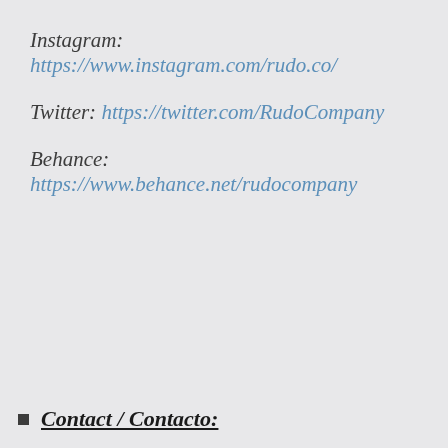Instagram:
https://www.instagram.com/rudo.co/
Twitter: https://twitter.com/RudoCompany
Behance:
https://www.behance.net/rudocompany
Contact / Contacto: